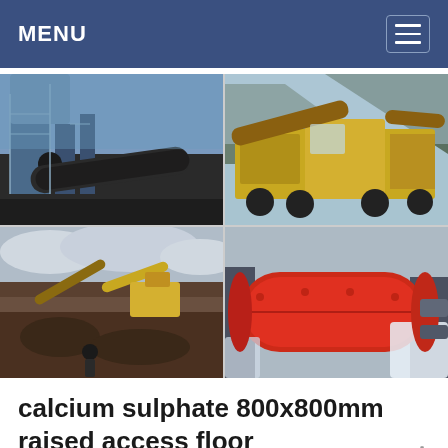MENU
[Figure (photo): Four-panel photo collage of industrial mining and mineral processing equipment: top-left shows a large rotary kiln at an industrial facility; top-right shows a mobile jaw crusher/screening plant at a quarry with mountains in background; bottom-left shows open-pit mining operation with excavators and conveyors; bottom-right shows a large red ball mill with water discharge.]
calcium sulphate 800x800mm raised access floor